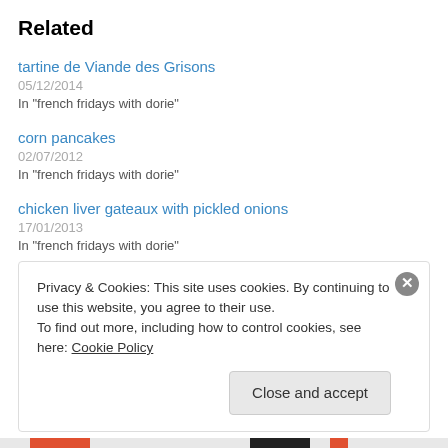Related
tartine de Viande des Grisons
05/12/2014
In "french fridays with dorie"
corn pancakes
02/07/2012
In "french fridays with dorie"
chicken liver gateaux with pickled onions
17/01/2013
In "french fridays with dorie"
Privacy & Cookies: This site uses cookies. By continuing to use this website, you agree to their use.
To find out more, including how to control cookies, see here: Cookie Policy